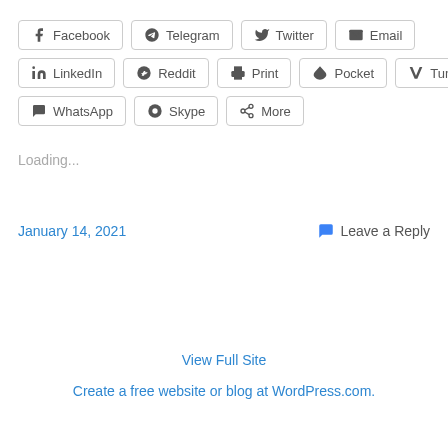Facebook  Telegram  Twitter  Email  LinkedIn  Reddit  Print  Pocket  Tumblr  WhatsApp  Skype  More
Loading...
January 14, 2021
Leave a Reply
View Full Site
Create a free website or blog at WordPress.com.